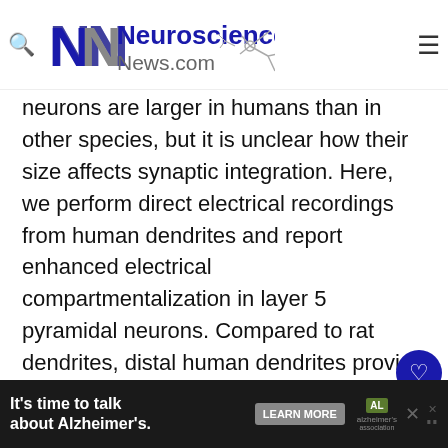Neuroscience News.com
neurons are larger in humans than in other species, but it is unclear how their size affects synaptic integration. Here, we perform direct electrical recordings from human dendrites and report enhanced electrical compartmentalization in layer 5 pyramidal neurons. Compared to rat dendrites, distal human dendrites provide limited excitation to the soma, even in the presence of dendritic spikes. Human somas also exhibit less bursting du
[Figure (infographic): Advertisement banner at bottom: 'It's time to talk about Alzheimer's.' with LEARN MORE button and Alzheimer's Association logo]